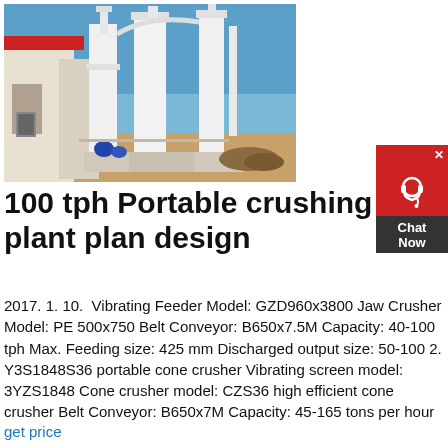[Figure (photo): Industrial crushing plant facility with large white industrial machinery, pipes, towers, and dust collection equipment set against a blue sky, with a building on the left and dirt ground]
100 tph Portable crushing plant plan design
2017. 1. 10.  Vibrating Feeder Model: GZD960x3800 Jaw Crusher Model: PE 500x750 Belt Conveyor: B650x7.5M Capacity: 40-100 tph Max. Feeding size: 425 mm Discharged output size: 50-100 2. Y3S1848S36 portable cone crusher Vibrating screen model: 3YZS1848 Cone crusher model: CZS36 high efficient cone crusher Belt Conveyor: B650x7M Capacity: 45-165 tons per hour
get price